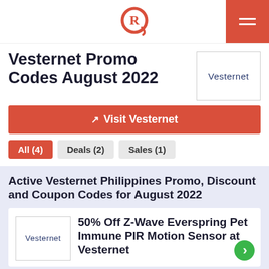Rappler logo header with hamburger menu
Vesternet Promo Codes August 2022
[Figure (logo): Vesternet brand logo box with text 'Vesternet']
Visit Vesternet
All (4)
Deals (2)
Sales (1)
Active Vesternet Philippines Promo, Discount and Coupon Codes for August 2022
50% Off Z-Wave Everspring Pet Immune PIR Motion Sensor at Vesternet